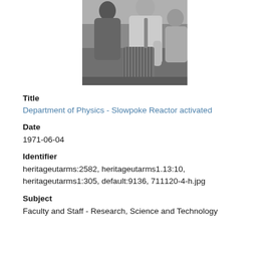[Figure (photo): Black and white photograph showing people in white lab coats examining a cylindrical object with rod-like fins, likely a nuclear reactor component (Slowpoke Reactor).]
Title
Department of Physics - Slowpoke Reactor activated
Date
1971-06-04
Identifier
heritageutarms:2582, heritageutarms1.13:10, heritageutarms1:305, default:9136, 711120-4-h.jpg
Subject
Faculty and Staff - Research, Science and Technology